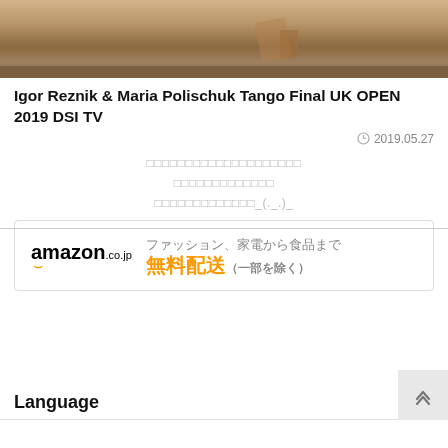[Figure (photo): Top portion of a dance performance photo showing a wooden dance floor with a dancer's feet/legs visible]
Igor Reznik & Maria Polischuk Tango Final UK OPEN 2019 DSI TV
2019.05.27
□□□□□□□□□□□□□□□□□□□□
□□□□□□□□□□□□□
□□□□□□□□□□□□□_(._.)_
[Figure (infographic): Amazon.co.jp advertisement banner: ファッション、家電から食品まで 無料配送（一部を除く）]
Language